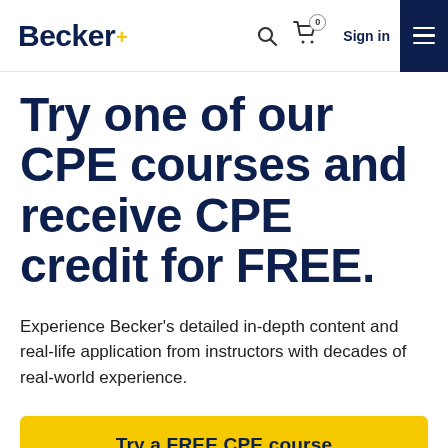Becker+ | Sign in
Try one of our CPE courses and receive CPE credit for FREE.
Experience Becker's detailed in-depth content and real-life application from instructors with decades of real-world experience.
Try a FREE CPE course